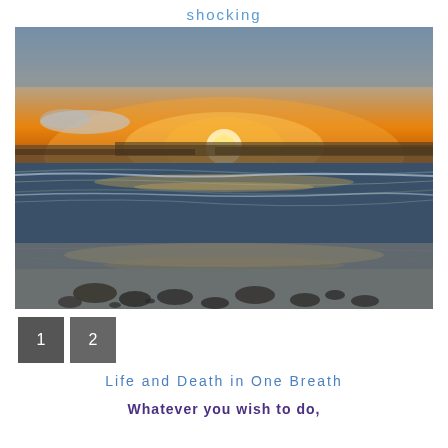shocking
[Figure (photo): Beach sunset photo showing ocean waves, wet sandy beach with rocks in foreground, and a dramatic orange and blue sky with the sun setting on the horizon]
1  2
Life and Death in One Breath
Whatever you wish to do,